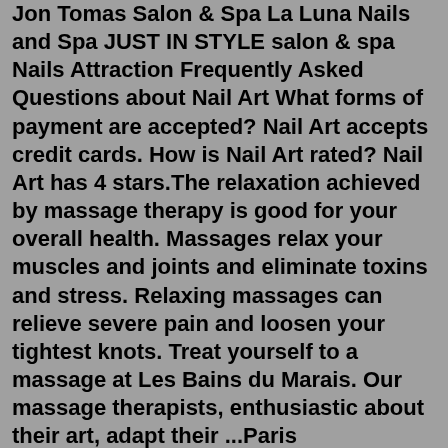Jon Tomas Salon & Spa La Luna Nails and Spa JUST IN STYLE salon & spa Nails Attraction Frequently Asked Questions about Nail Art What forms of payment are accepted? Nail Art accepts credit cards. How is Nail Art rated? Nail Art has 4 stars.The relaxation achieved by massage therapy is good for your overall health. Massages relax your muscles and joints and eliminate toxins and stress. Relaxing massages can relieve severe pain and loosen your tightest knots. Treat yourself to a massage at Les Bains du Marais. Our massage therapists, enthusiastic about their art, adapt their ...Paris Photography, Paris in the rain, Spring in Paris, Lovers in the Marais, Red Umbrella Print, love, Red Umbrella in Paris, art ... Paris Street Art, Red Umbrella Art, Paris Graffiti, Urban Art, Graffiti Wall Art, Urban Wall Art, Paris Wall Art, Modern Wall Art ... 5 out of 5 stars (155) $ 25.00. Add to Favorites Rainy day in Paris Nail Art ...Lead Image Photography by Marion Berrin Paris's Marais